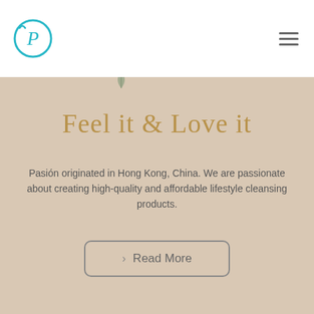[Figure (logo): Circular teal logo with letter P inside, Pasión brand logo]
Feel it & Love it
Pasión originated in Hong Kong, China. We are passionate about creating high-quality and affordable lifestyle cleansing products.
> Read More